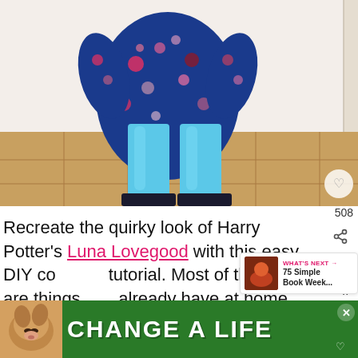[Figure (photo): Lower half of a child wearing a floral blue dress, bright blue tights, and black boots, standing on terracotta floor tiles against a white wall.]
508
Recreate the quirky look of Harry Potter's Luna Lovegood with this easy DIY costume tutorial. Most of the items are things you already have at home with tutorials for making yo...
[Figure (screenshot): What's Next panel showing thumbnail and text: 75 Simple Book Week...]
[Figure (photo): Advertisement banner with green background showing a dog photo and text CHANGE A LIFE with a close button.]